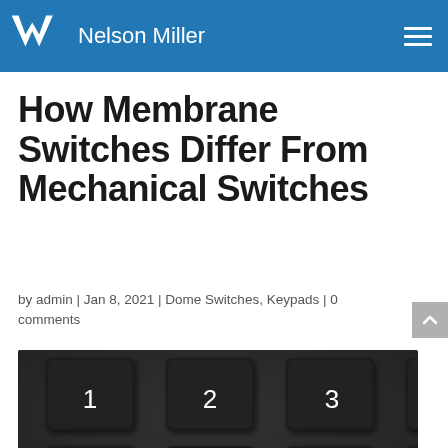Nelson Miller
How Membrane Switches Differ From Mechanical Switches
by admin | Jan 8, 2021 | Dome Switches, Keypads | 0 comments
[Figure (photo): Close-up photo of a dark numeric keypad with keys labeled 1-6 visible, black keys with white numerals on a dark gray background.]